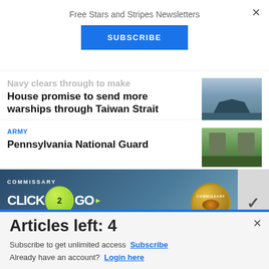Free Stars and Stripes Newsletters
SUBSCRIBE
Navy clears through to make House promise to send more warships through Taiwan Strait
ARMY
Pennsylvania National Guard
[Figure (infographic): Commissary Click2Go advertisement banner with green logo circle and commissary badge]
Articles left: 4
Subscribe to get unlimited access Subscribe Already have an account? Login here